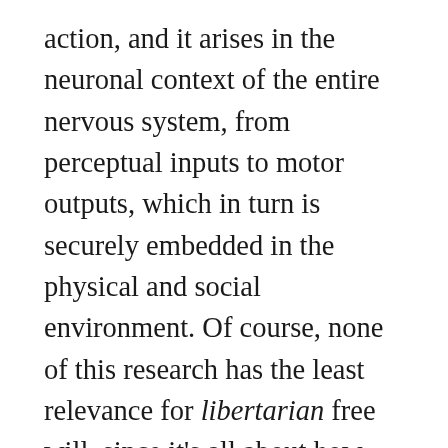action, and it arises in the neuronal context of the entire nervous system, from perceptual inputs to motor outputs, which in turn is securely embedded in the physical and social environment. Of course, none of this research has the least relevance for libertarian free will, since it's all about how internal cybernetic mechanisms respond, more or less deterministically, to environmental contingencies. (Although its of interest that Robert Kane thinks that some sort of indeterminism, generated by conflicting neural processes, may turn out to be the